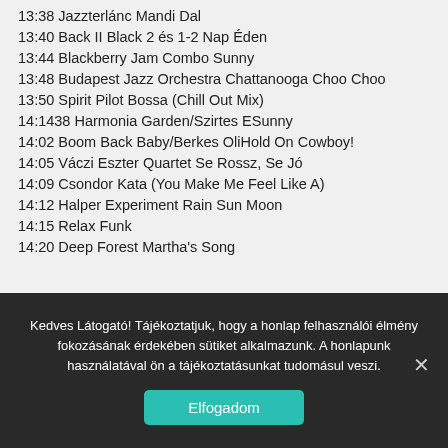13:38 Jazzterlánc Mandi Dal
13:40 Back II Black 2 és 1-2 Nap Éden
13:44 Blackberry Jam Combo Sunny
13:48 Budapest Jazz Orchestra Chattanooga Choo Choo
13:50 Spirit Pilot Bossa (Chill Out Mix)
14:1438 Harmonia Garden/Szirtes ESunny
14:02 Boom Back Baby/Berkes OliHold On Cowboy!
14:05 Váczi Eszter Quartet Se Rossz, Se Jó
14:09 Csondor Kata (You Make Me Feel Like A)
14:12 Halper Experiment Rain Sun Moon
14:15 Relax Funk
14:20 Deep Forest Martha's Song
Kedves Látogató! Tájékoztatjuk, hogy a honlap felhasználói élmény fokozásának érdekében sütiket alkalmazunk. A honlapunk használatával ön a tájékoztatásunkat tudomásul veszi.
Elfogadom